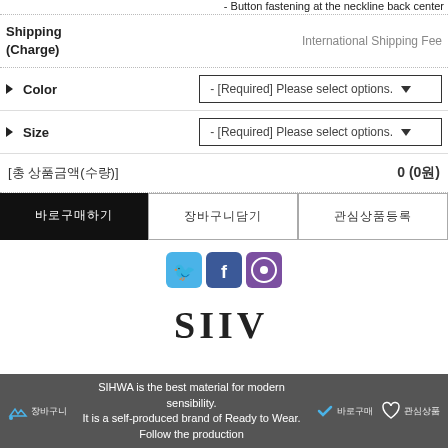- Button fastening at the neckline back center
| Shipping (Charge) | International Shipping Fee |
| --- | --- |
▶ Color  - [Required] Please select options.
▶ Size  - [Required] Please select options.
[총 상품금액(수량)] 0 (0원)
바로구매하기 | 장바구니담기 | 관심상품등록
[Figure (logo): Social media icons: Twitter (blue bird), Facebook (blue f), a purple circle icon]
[Figure (logo): SIHWA brand logo in serif font]
SIHWA is the best material for modern sensibility. It is a self-produced brand of Ready to Wear. Follow the production